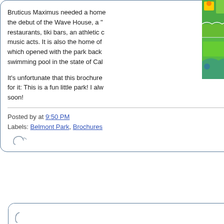[Figure (illustration): Two stacked illustrated images visible at top-right, green backgrounds, partially cropped]
Bruticus Maximus needed a home... the debut of the Wave House, a "..." restaurants, tiki bars, an athletic c... music acts. It is also the home of ... which opened with the park back ... swimming pool in the state of Cal...
It's unfortunate that this brochure ... for it: This is a fun little park! I alw... soon!
Posted by at 9:50 PM
Labels: Belmont Park, Brochures
TUESDAY
[Figure (other): Bottom of another card/post container, partially visible]